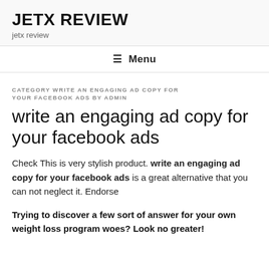JETX REVIEW
jetx review
☰ Menu
CATEGORY WRITE AN ENGAGING AD COPY FOR YOUR FACEBOOK ADS BY ADMIN
write an engaging ad copy for your facebook ads
Check This is very stylish product. write an engaging ad copy for your facebook ads is a great alternative that you can not neglect it. Endorse
Trying to discover a few sort of answer for your own weight loss program woes? Look no greater!